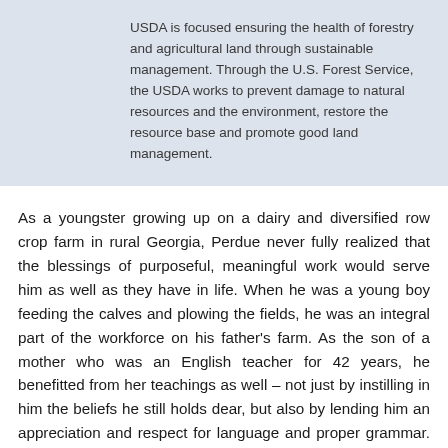USDA is focused ensuring the health of forestry and agricultural land through sustainable management. Through the U.S. Forest Service, the USDA works to prevent damage to natural resources and the environment, restore the resource base and promote good land management.
As a youngster growing up on a dairy and diversified row crop farm in rural Georgia, Perdue never fully realized that the blessings of purposeful, meaningful work would serve him as well as they have in life. When he was a young boy feeding the calves and plowing the fields, he was an integral part of the workforce on his father's farm. As the son of a mother who was an English teacher for 42 years, he benefitted from her teachings as well – not just by instilling in him the beliefs he still holds dear, but also by lending him an appreciation and respect for language and proper grammar. But more than anything in his life, it was the family farm which shaped Sonny Perdue. He has lived and breathed the exhilaration of a great crop and the despair and devastation of a drought. He